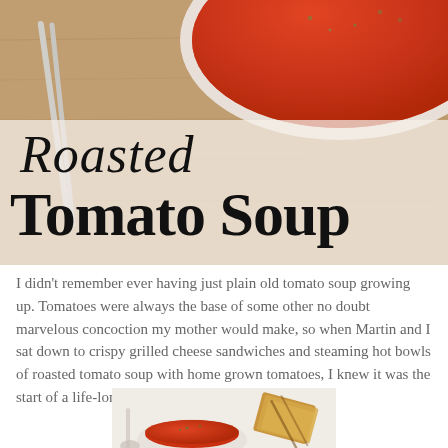[Figure (photo): Top-down photo of a white bowl of roasted tomato soup with herb garnish on a wooden cutting board with a spoon, overlaid with the recipe title text 'Roasted Tomato Soup' in script and serif fonts]
Roasted Tomato Soup
I didn't remember ever having just plain old tomato soup growing up. Tomatoes were always the base of some other no doubt marvelous concoction my mother would make, so when Martin and I sat down to crispy grilled cheese sandwiches and steaming hot bowls of roasted tomato soup with home grown tomatoes, I knew it was the start of a life-long relationship.
[Figure (photo): Photo of a bowl of roasted tomato soup with grilled cheese sandwiches beside it on a white surface]